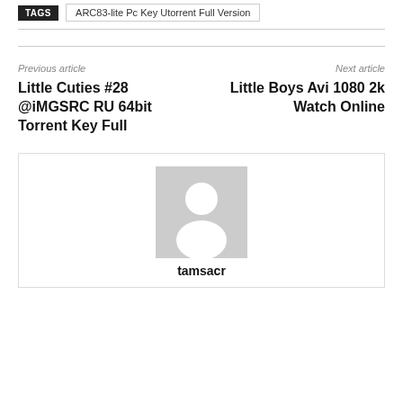TAGS   ARC83-lite Pc Key Utorrent Full Version
Previous article
Little Cuties #28 @iMGSRC RU 64bit Torrent Key Full
Next article
Little Boys Avi 1080 2k Watch Online
[Figure (illustration): Generic user avatar placeholder image - grey square with white silhouette of a person]
tamsacr